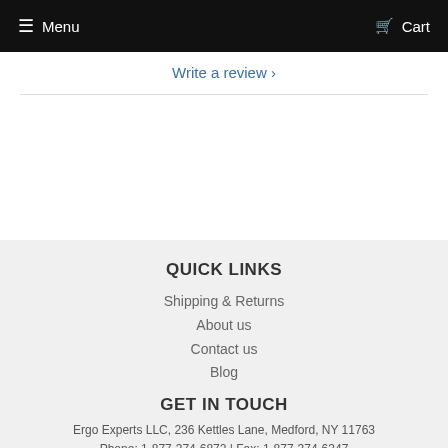Menu   Cart
Write a review ›
QUICK LINKS
Shipping & Returns
About us
Contact us
Blog
GET IN TOUCH
Ergo Experts LLC, 236 Kettles Lane, Medford, NY 11763
Phone: 1-877-374-6872 | Fax: 1-877-374-6347